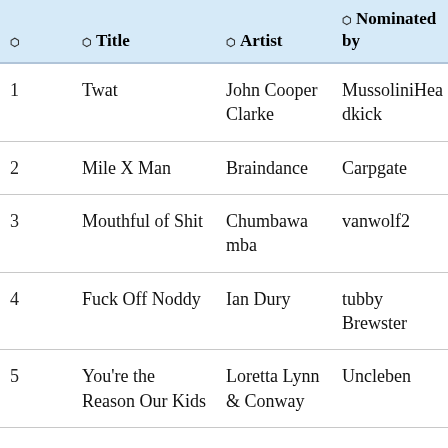|  | Title | Artist | Nominated by |
| --- | --- | --- | --- |
| 1 | Twat | John Cooper Clarke | MussoliniHeadkick |
| 2 | Mile X Man | Braindance | Carpgate |
| 3 | Mouthful of Shit | Chumbawamba | vanwolf2 |
| 4 | Fuck Off Noddy | Ian Dury | tubby Brewster |
| 5 | You're the Reason Our Kids… | Loretta Lynn & Conway Twitty… | Uncleben |